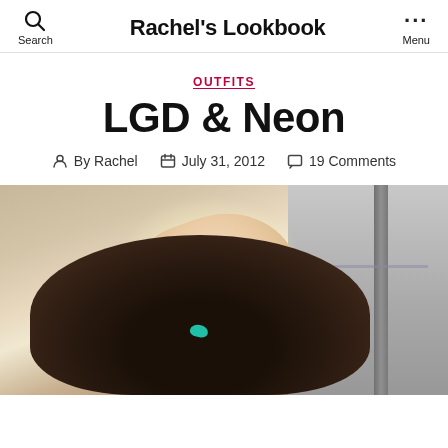Search | Rachel's Lookbook | Menu
OUTFITS
LGD & Neon
By Rachel  July 31, 2012  19 Comments
[Figure (photo): Close-up photo of a person's hand with teal/turquoise nail polish petting a small dark-furred dog, with concrete and a metal pole in the background.]